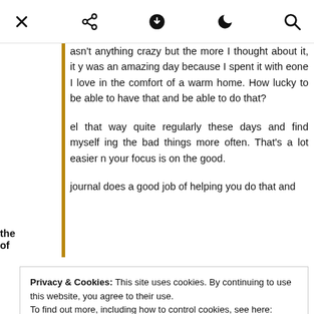Navigation bar with close, share, download, night mode, and search icons
asn't anything crazy but the more I thought about it, it y was an amazing day because I spent it with eone I love in the comfort of a warm home. How lucky to be able to have that and be able to do that?
el that way quite regularly these days and find myself ing the bad things more often. That's a lot easier n your focus is on the good.
the journal does a good job of helping you do that and of
Privacy & Cookies: This site uses cookies. By continuing to use this website, you agree to their use. To find out more, including how to control cookies, see here: Cookie Policy
Close and accept
ne y or friends and are limited in what we can do but in